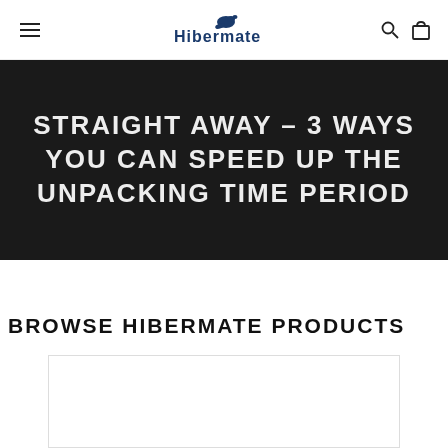Hibermate
STRAIGHT AWAY - 3 WAYS YOU CAN SPEED UP THE UNPACKING TIME PERIOD
BROWSE HIBERMATE PRODUCTS
[Figure (photo): Partially visible product card/image at bottom of page]